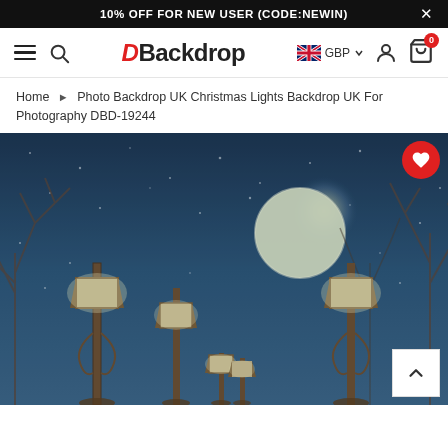10% OFF FOR NEW USER (CODE:NEWIN)
[Figure (logo): DBackdrop logo with red D and black Backdrop text, navigation bar with hamburger menu, search icon, GB flag with GBP currency selector, user icon, and cart icon showing 0 items]
Home ▶ Photo Backdrop UK Christmas Lights Backdrop UK For Photography DBD-19244
[Figure (photo): A Christmas lights photography backdrop showing a snowy night scene with street lamps glowing warmly, a large full moon in the background, bare winter trees, and falling snow against a dark blue sky]